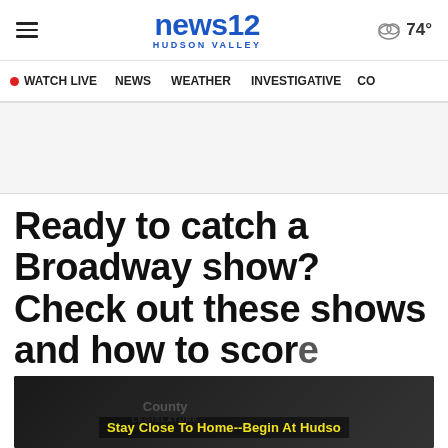news12 HUDSON VALLEY  ☁ 74°
• WATCH LIVE  NEWS  WEATHER  INVESTIGATIVE  CO
[Figure (other): Gray advertisement placeholder banner]
Ready to catch a Broadway show? Check out these shows and how to score
[Figure (screenshot): Video thumbnail with dark background and yellow text overlay: Stay Close To Home--Begin At Hudson]